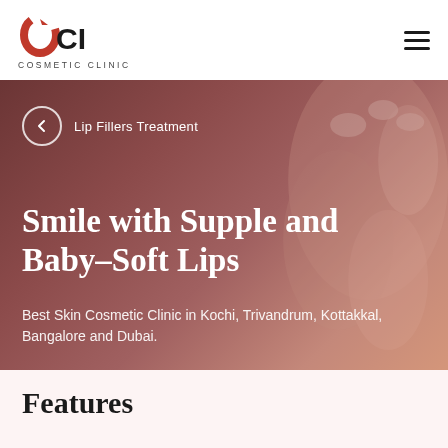[Figure (logo): CCI Cosmetic Clinic logo with stylized C and CI text in red/black]
[Figure (photo): Hero banner with dark reddish-brown background showing close-up of lips and hand with manicured nails]
← Lip Fillers Treatment
Smile with Supple and Baby-Soft Lips
Best Skin Cosmetic Clinic in Kochi, Trivandrum, Kottakkal, Bangalore and Dubai.
Features